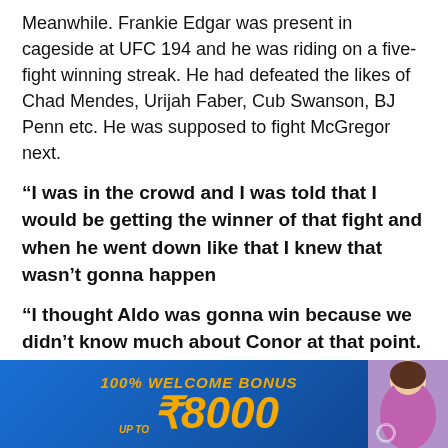Meanwhile. Frankie Edgar was present in cageside at UFC 194 and he was riding on a five-fight winning streak. He had defeated the likes of Chad Mendes, Urijah Faber, Cub Swanson, BJ Penn etc. He was supposed to fight McGregor next.
“I was in the crowd and I was told that I would be getting the winner of that fight and when he went down like that I knew that wasn’t gonna happen
“I thought Aldo was gonna win because we didn’t know much about Conor at that point. So I thought Aldo was gonna win and I was gonna get a rematch with him
“Conor did that [Knock out Aldo] and then I hear him
[Figure (other): Advertisement banner: blue gradient background with orange text reading '100% WELCOME BONUS UP TO ₹8000', with a partially visible woman figure on the right]